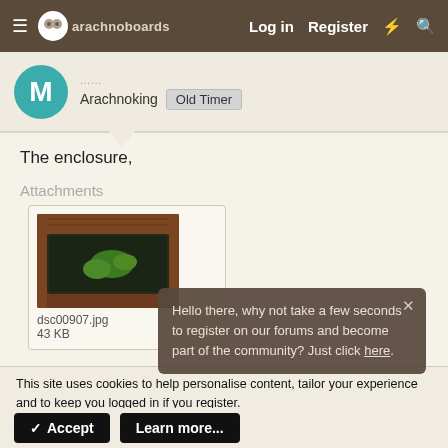arachnoboards | Log in | Register
M
Arachnoking  Old Timer
The enclosure,
Attachments
[Figure (photo): Thumbnail photo of a terrarium/enclosure with glass top and green plant inside]
dsc00907.jpg
43 KB
Hello there, why not take a few seconds to register on our forums and become part of the community? Just click here.
This site uses cookies to help personalise content, tailor your experience and to keep you logged in if you register.
By continuing to use this site, you are consenting to our use of cookies.
✓ Accept
Learn more...